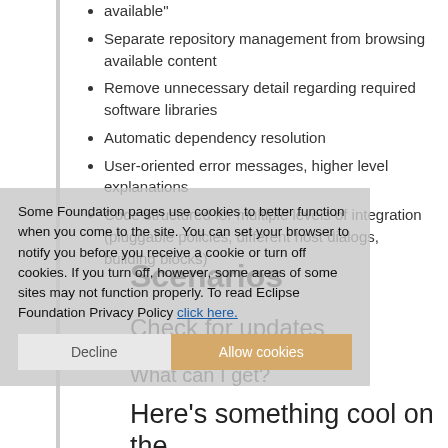available"
Separate repository management from browsing available content
Remove unnecessary detail regarding required software libraries
Automatic dependency resolution
User-oriented error messages, higher level explanations
Code structured for multiple levels of integration (pluggable policies, different host dialogs, building blocks)
Some Foundation pages use cookies to better function when you come to the site. You can set your browser to notify you before you receive a cookie or turn off cookies. If you turn off, however, some areas of some sites may not function properly. To read Eclipse Foundation Privacy Policy click here.
Scenarios
Check for updates
What can I get?
Here's something cool on the web